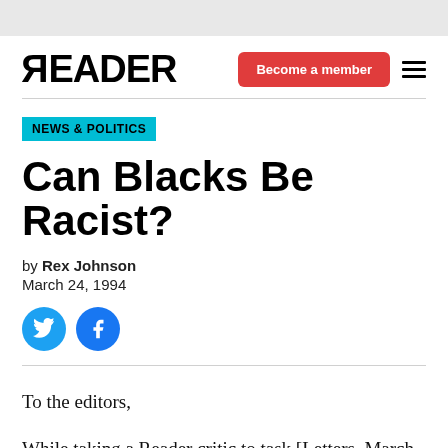READER — Become a member
NEWS & POLITICS
Can Blacks Be Racist?
by Rex Johnson
March 24, 1994
To the editors,
While taking a Reader critic to task [Letters, March 11]